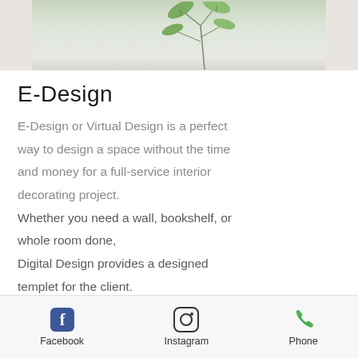[Figure (photo): Photo of plant leaves on a light beige/grey background, partially visible at top of page]
E-Design
E-Design or Virtual Design is a perfect way to design a space without the time and money for a full-service interior decorating project. Whether you need a wall, bookshelf, or whole room done, Digital Design provides a designed templet for the client. Finished designs can include a shopping list and budget as well.
Facebook  Instagram  Phone